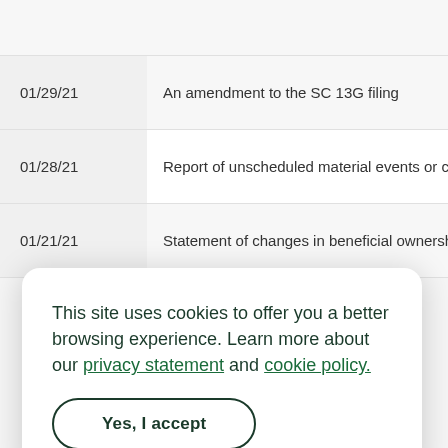| Date | Description |
| --- | --- |
| 01/29/21 | An amendment to the SC 13G filing |
| 01/28/21 | Report of unscheduled material events or corporate |
| 01/21/21 | Statement of changes in beneficial ownership of se |
This site uses cookies to offer you a better browsing experience. Learn more about our privacy statement and cookie policy.
Yes, I accept